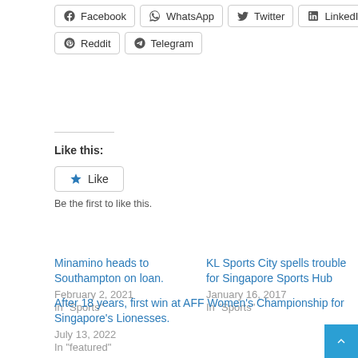Facebook
WhatsApp
Twitter
LinkedIn
Reddit
Telegram
Like this:
Like
Be the first to like this.
Minamino heads to Southampton on loan.
February 2, 2021
In "Sports"
KL Sports City spells trouble for Singapore Sports Hub
January 16, 2017
In "Sports"
After 18 years, first win at AFF Women's Championship for Singapore's Lionesses.
July 13, 2022
In "featured"